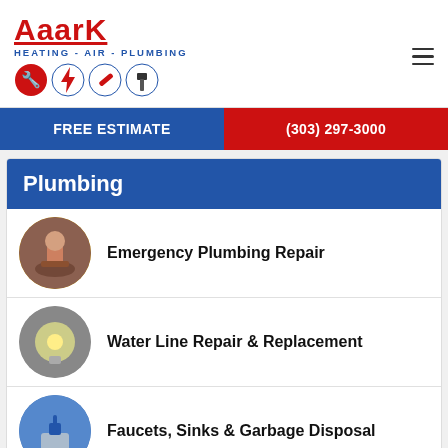[Figure (logo): AAARK Heating Air Plumbing logo with red text and service icons]
FREE ESTIMATE
(303) 297-3000
Plumbing
Emergency Plumbing Repair
Water Line Repair & Replacement
Faucets, Sinks & Garbage Disposal